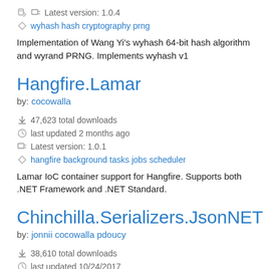Latest version: 1.0.4
wyhash hash cryptography prng
Implementation of Wang Yi's wyhash 64-bit hash algorithm and wyrand PRNG. Implements wyhash v1
Hangfire.Lamar
by: cocowalla
47,623 total downloads
last updated 2 months ago
Latest version: 1.0.1
hangfire background tasks jobs scheduler
Lamar IoC container support for Hangfire. Supports both .NET Framework and .NET Standard.
Chinchilla.Serializers.JsonNET
by: jonnii cocowalla pdoucy
38,610 total downloads
last updated 10/24/2017